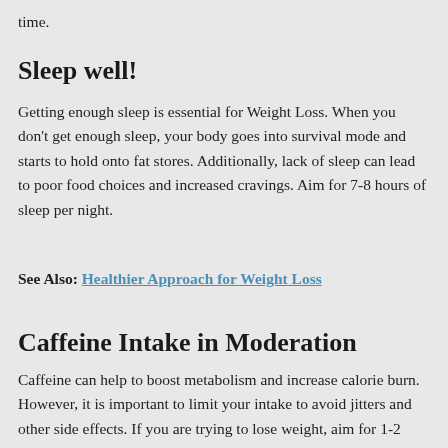time.
Sleep well!
Getting enough sleep is essential for Weight Loss. When you don't get enough sleep, your body goes into survival mode and starts to hold onto fat stores. Additionally, lack of sleep can lead to poor food choices and increased cravings. Aim for 7-8 hours of sleep per night.
See Also: Healthier Approach for Weight Loss
Caffeine Intake in Moderation
Caffeine can help to boost metabolism and increase calorie burn. However, it is important to limit your intake to avoid jitters and other side effects. If you are trying to lose weight, aim for 1-2